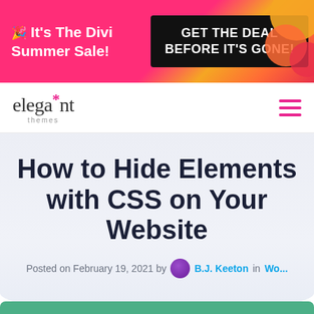[Figure (other): Promotional banner with pink/magenta gradient background. Left side reads '🎉 It's The Divi Summer Sale!' in white bold text. Right side has a black rounded rectangle button reading 'GET THE DEAL BEFORE IT'S GONE!' with colorful decorative blobs on far right.]
elegant*themes navigation bar with hamburger menu icon
How to Hide Elements with CSS on Your Website
Posted on February 19, 2021 by B.J. Keeton in Wo...